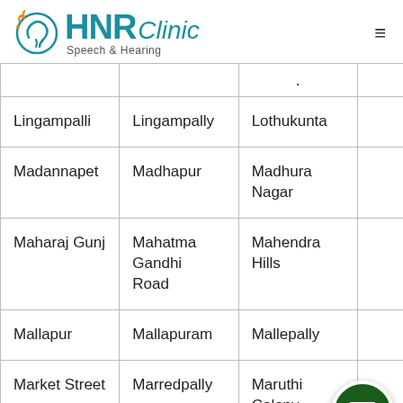HNR Speech & Hearing Clinic
| Lingampalli | Lingampally | Lothukunta |  |
| Madannapet | Madhapur | Madhura Nagar |  |
| Maharaj Gunj | Mahatma Gandhi Road | Mahendra Hills |  |
| Mallapur | Mallapuram | Mallepally |  |
| Market Street | Marredpally | Maruthi Colony |  |